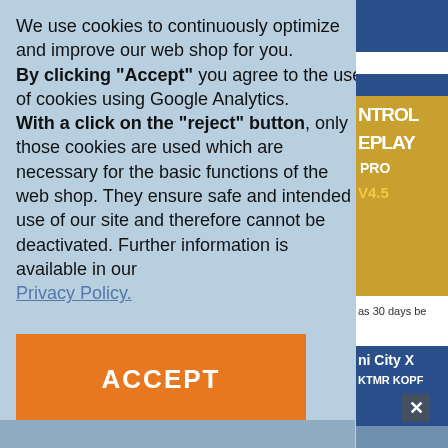We use cookies to continuously optimize and improve our web shop for you. By clicking "Accept" you agree to the use of cookies using Google Analytics. With a click on the "reject" button, only those cookies are used which are necessary for the basic functions of the web shop. They ensure safe and intended use of our site and therefore cannot be deactivated. Further information is available in our Privacy Policy.
ACCEPT
REJECT
[Figure (screenshot): Partial right sidebar showing game software product images including 'NTROL EPLAY PRO V4.5' and 'ni City X KTMR KOPF' with navigation elements]